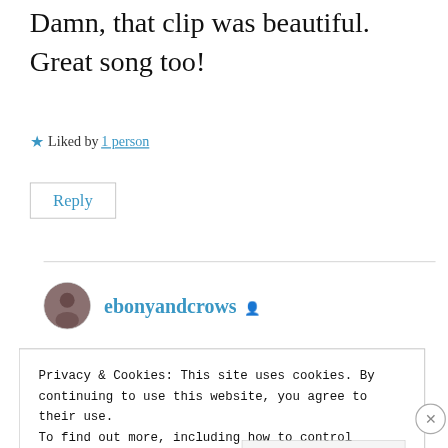Damn, that clip was beautiful. Great song too!
★ Liked by 1 person
Reply
ebonyandcrows
Privacy & Cookies: This site uses cookies. By continuing to use this website, you agree to their use.
To find out more, including how to control cookies, see here: Cookie Policy
Close and accept